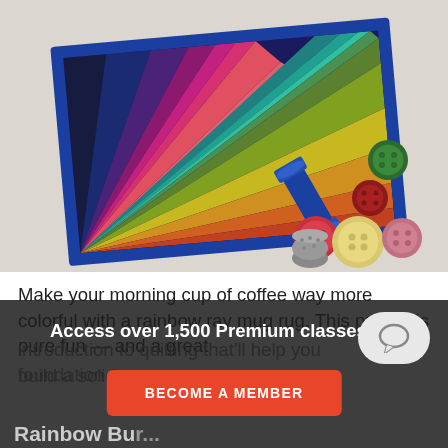[Figure (photo): A rainbow ray mug rug (quilted fabric mat with colorful triangular wedge segments in rainbow colors with a blue border) displayed at an angle, accompanied by colorful buttons and a blue thread spool and metal thimble on a light background.]
Make your morning cup of coffee way more colorful with a rainbow ray mug rug. This project is pure fun — and a great introduction to quilting that'll help you build a solid foundation.
Access over 1,500 Premium classes
BECOME A MEMBER
Rainbow Bur...